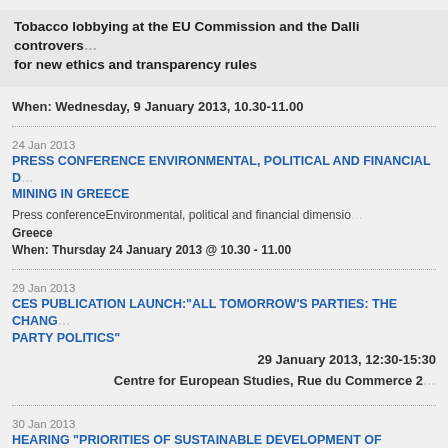Tobacco lobbying at the EU Commission and the Dalli controversy: for new ethics and transparency rules
When: Wednesday, 9 January 2013, 10.30-11.00
24 Jan 2013
PRESS CONFERENCE ENVIRONMENTAL, POLITICAL AND FINANCIAL DIMENSIONS OF MINING IN GREECE
Press conferenceEnvironmental, political and financial dimensions of mining in Greece
When: Thursday 24 January 2013 @ 10.30 - 11.00
29 Jan 2013
CES PUBLICATION LAUNCH:"ALL TOMORROW'S PARTIES: THE CHANGING FACE OF EUROPEAN PARTY POLITICS"
29 January 2013, 12:30-15:30
Centre for European Studies, Rue du Commerce 20
30 Jan 2013
HEARING "PRIORITIES OF SUSTAINABLE DEVELOPMENT OF DNIPROPETROVSK REGION (UKRAINE) - PILOT AREA OF DYNAMIC INTERREGIONAL EUROPEAN COOPERATION"